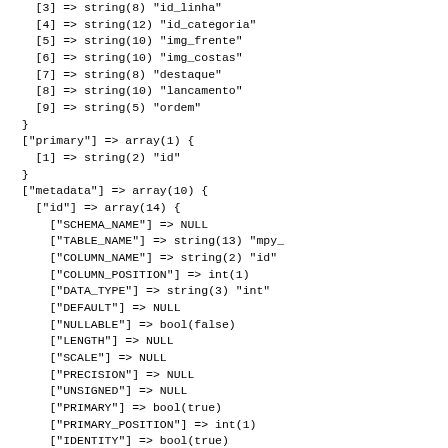[3] => string(8) "id_linha"
[4] => string(12) "id_categoria"
[5] => string(10) "img_frente"
[6] => string(10) "img_costas"
[7] => string(8) "destaque"
[8] => string(10) "lancamento"
[9] => string(5) "ordem"
}
["primary"] => array(1) {
  [1] => string(2) "id"
}
["metadata"] => array(10) {
  ["id"] => array(14) {
    ["SCHEMA_NAME"] => NULL
    ["TABLE_NAME"] => string(13) "mpy_
    ["COLUMN_NAME"] => string(2) "id"
    ["COLUMN_POSITION"] => int(1)
    ["DATA_TYPE"] => string(3) "int"
    ["DEFAULT"] => NULL
    ["NULLABLE"] => bool(false)
    ["LENGTH"] => NULL
    ["SCALE"] => NULL
    ["PRECISION"] => NULL
    ["UNSIGNED"] => NULL
    ["PRIMARY"] => bool(true)
    ["PRIMARY_POSITION"] => int(1)
    ["IDENTITY"] => bool(true)
  }
  ["id_site"] => array(14) {
    ["SCHEMA_NAME"] => NULL